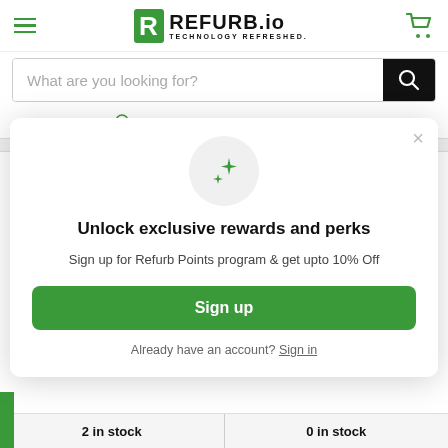REFURB.io TECHNOLOGY REFRESHED.
What are you looking for?
Refurb Points Save up to 10% off
[Figure (screenshot): Modal popup with sparkle icon, title 'Unlock exclusive rewards and perks', description text, Sign up button, and Sign in link]
2 in stock
0 in stock